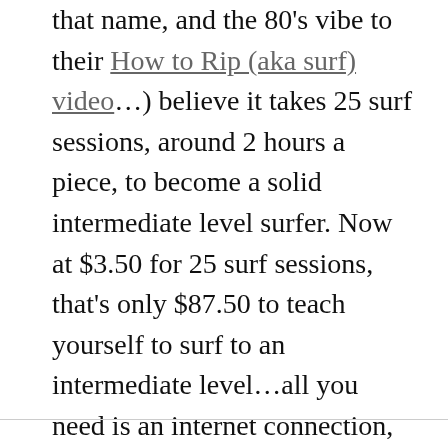that name, and the 80's vibe to their How to Rip (aka surf) video…) believe it takes 25 surf sessions, around 2 hours a piece, to become a solid intermediate level surfer. Now at $3.50 for 25 surf sessions, that's only $87.50 to teach yourself to surf to an intermediate level…all you need is an internet connection, to bookmark this article, and a good bit of stubbornness (for those rough days).